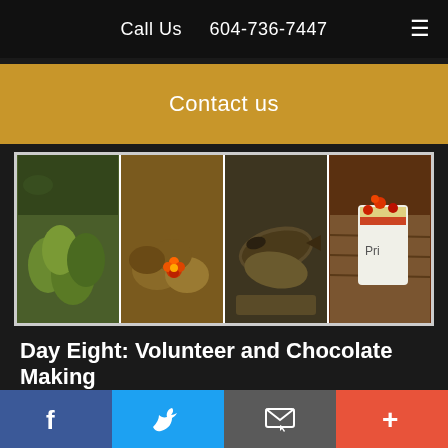Call Us   604-736-7447
Contact us
[Figure (photo): Four-panel photo strip showing various foods: green fruits/vegetables, potatoes with flower, dried fish, and a cup with berries]
Day Eight: Volunteer and Chocolate Making
Volunteering in the Community
Continue the momentum on the build site. As you work, remember to take many water breaks and chat with the community members working alongside you.
f  (twitter)  (email)  +